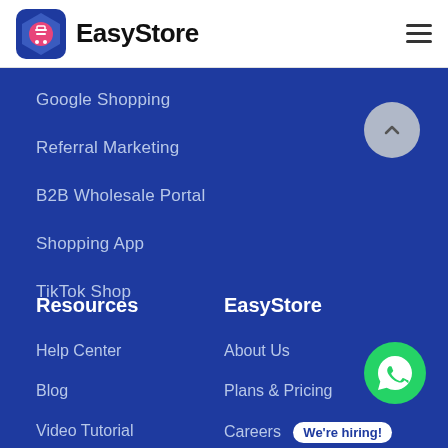EasyStore
Google Shopping
Referral Marketing
B2B Wholesale Portal
Shopping App
TikTok Shop
Resources
EasyStore
Help Center
About Us
Blog
Plans & Pricing
Video Tutorial
Careers  We're hiring!
Workshops
Partner Program